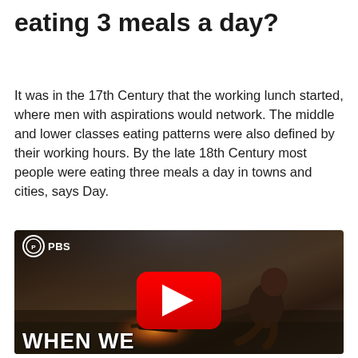eating 3 meals a day?
It was in the 17th Century that the working lunch started, where men with aspirations would network. The middle and lower classes eating patterns were also defined by their working hours. By the late 18th Century most people were eating three meals a day in towns and cities, says Day.
[Figure (screenshot): PBS YouTube video thumbnail showing a primitive human crouching by a fire in a dark, cinematic setting. A YouTube play button is centered on the image. PBS logo and name appear in the top left. The text 'WHEN WE' appears in large white bold letters at the bottom left.]